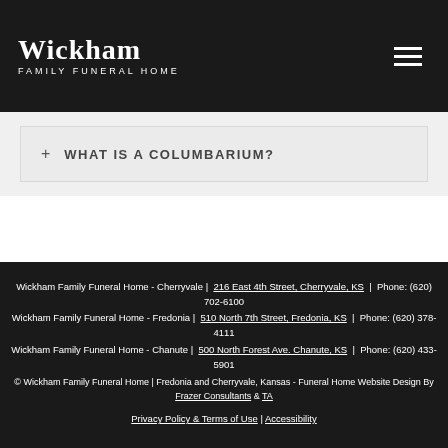Wickham Family Funeral Home
+ WHAT IS A COLUMBARIUM?
Wickham Family Funeral Home - Cherryvale | 216 East 4th Street, Cherryvale, KS | Phone: (620) 702-6100
Wickham Family Funeral Home - Fredonia | 510 North 7th Street, Fredonia, KS | Phone: (620) 378-4111
Wickham Family Funeral Home - Chanute | 500 North Forest Ave. Chanute, KS | Phone: (620) 433-5901
© Wickham Family Funeral Home | Fredonia and Cherryvale, Kansas - Funeral Home Website Design By Frazer Consultants & TA
Privacy Policy & Terms of Use | Accessibility